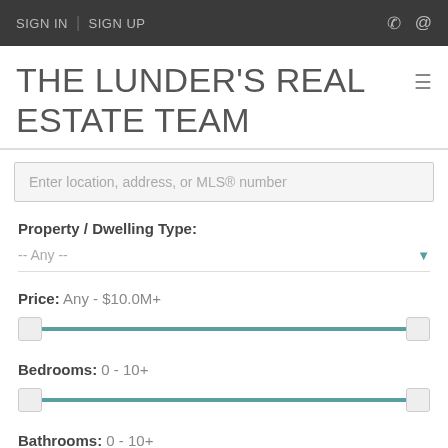SIGN IN | SIGN UP
THE LUNDER'S REAL ESTATE TEAM
Enter location, address, or MLS® number
Property / Dwelling Type: -- Any --
Price: Any - $10.0M+
Bedrooms: 0 - 10+
Bathrooms: 0 - 10+